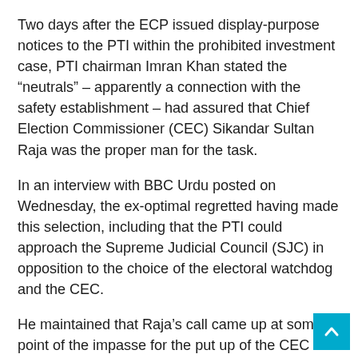Two days after the ECP issued display-purpose notices to the PTI within the prohibited investment case, PTI chairman Imran Khan stated the “neutrals” – apparently a connection with the safety establishment – had assured that Chief Election Commissioner (CEC) Sikandar Sultan Raja was the proper man for the task.
In an interview with BBC Urdu posted on Wednesday, the ex-optimal regretted having made this selection, including that the PTI could approach the Supreme Judicial Council (SJC) in opposition to the choice of the electoral watchdog and the CEC.
He maintained that Raja’s call came up at some point of the impasse for the put up of the CEC all through his tenure.
Meanwhile, Imran Khan had known as for a ‘non violent protest’ outdoor the ECP on August four (today) – a move Interior Minister Rana Sanaullah on Wednesday had warned the PTI in opposition to.Taiwan’s army has stated it’s miles “making ready for battle with out seeking warfare” after China’s navy commenced an remarkable four days of live-fireplace exercises near Taiwan’s beaches, in reaction to Nancy Pelosi’s go to to the island.